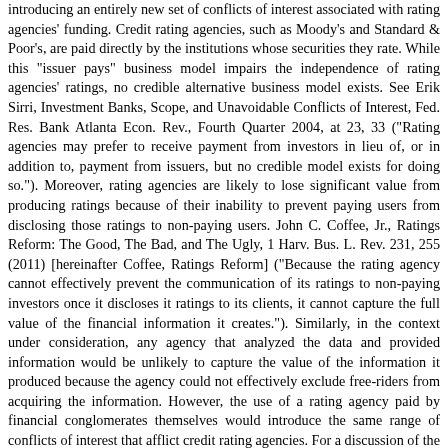introducing an entirely new set of conflicts of interest associated with rating agencies' funding. Credit rating agencies, such as Moody's and Standard & Poor's, are paid directly by the institutions whose securities they rate. While this "issuer pays" business model impairs the independence of rating agencies' ratings, no credible alternative business model exists. See Erik Sirri, Investment Banks, Scope, and Unavoidable Conflicts of Interest, Fed. Res. Bank Atlanta Econ. Rev., Fourth Quarter 2004, at 23, 33 ("Rating agencies may prefer to receive payment from investors in lieu of, or in addition to, payment from issuers, but no credible model exists for doing so."). Moreover, rating agencies are likely to lose significant value from producing ratings because of their inability to prevent paying users from disclosing those ratings to non-paying users. John C. Coffee, Jr., Ratings Reform: The Good, The Bad, and The Ugly, 1 Harv. Bus. L. Rev. 231, 255 (2011) [hereinafter Coffee, Ratings Reform] ("Because the rating agency cannot effectively prevent the communication of its ratings to non-paying investors once it discloses it ratings to its clients, it cannot capture the full value of the financial information it creates."). Similarly, in the context under consideration, any agency that analyzed the data and provided information would be unlikely to capture the value of the information it produced because the agency could not effectively exclude free-riders from acquiring the information. However, the use of a rating agency paid by financial conglomerates themselves would introduce the same range of conflicts of interest that afflict credit rating agencies. For a discussion of the conflicts of interest afflicting credit rating agencies, see John C. Coffee Jr., Gatekeepers: The Professions and Corporate Governance 283-314 (2006). Various measures could be adopted to guard against these conflicts; one, a suggestion from Professor John Coffee, would be to permit financial conglomerates to pay for a rating, but not to select the rater. Coffee, Ratings Reform, supra. This would be tantamount to a regulator-selected analyst. In the absence of any requirement that